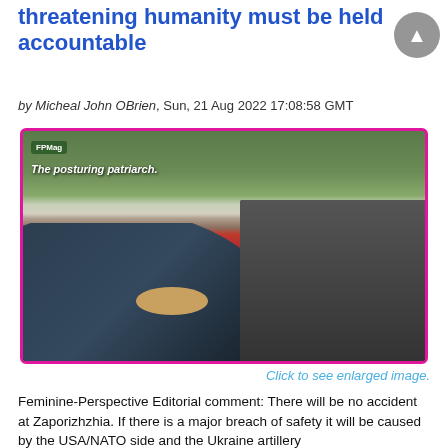threatening humanity must be held accountable
by Micheal John OBrien, Sun, 21 Aug 2022 17:08:58 GMT
[Figure (photo): Group of world leaders seated at a round table on a red carpet being photographed by a large crowd of press photographers. Text overlay reads 'FPMag' and 'The posturing patriarch.']
Click to see enlarged image.
Feminine-Perspective Editorial comment: There will be no accident at Zaporizhzhia. If there is a major breach of safety it will be caused by the USA/NATO side and the Ukraine artillery